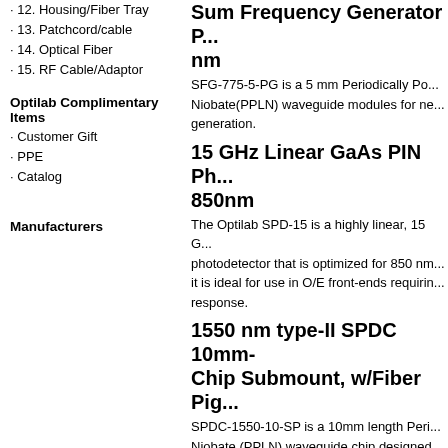· 12. Housing/Fiber Tray
· 13. Patchcord/cable
· 14. Optical Fiber
· 15. RF Cable/Adaptor
Optilab Complimentary Items
· Customer Gift
· PPE
· Catalog
Manufacturers
Sum Frequency Generator P... nm
SFG-775-5-PG is a 5 mm Periodically Po... Niobate(PPLN) waveguide modules for ne... generation.
15 GHz Linear GaAs PIN Ph... 850nm
The Optilab SPD-15 is a highly linear, 15 G... photodetector that is optimized for 850 nm... it is ideal for use in O/E front-ends requirin... response.
1550 nm type-II SPDC 10mm- Chip Submount, w/Fiber Pig...
SPDC-1550-10-SP is a 10mm length Peri... Niobate (PPLN) waveguide chip designed...
1550 nm type-II SPDC, Devi...
SPDC-1550-5-PG is a packaged 5mm len... Lithium Niobate (PPLN) waveguide chip d... 1550 nm.
Precision Temperature Con... SPDC/SFG Module Evaluati...
PTC-5000-MC is a fully integrated Precisi... designed for Optilab's Spontaneous Para...